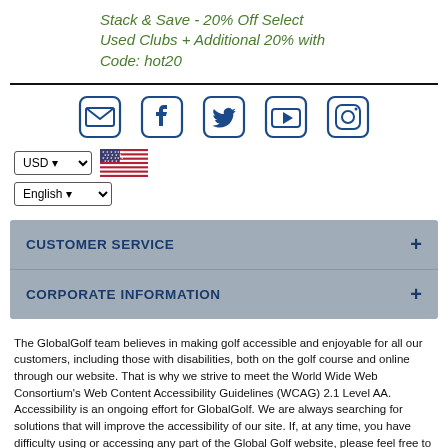Stack & Save - 20% Off Select Used Clubs + Additional 20% with Code: hot20
[Figure (infographic): Social media icon links: email/envelope, Facebook, Twitter, YouTube, Instagram — all in blue rounded square borders]
[Figure (infographic): USD currency dropdown selector with US flag, and English language dropdown selector]
CUSTOMER SERVICE
CORPORATE INFORMATION
The GlobalGolf team believes in making golf accessible and enjoyable for all our customers, including those with disabilities, both on the golf course and online through our website. That is why we strive to meet the World Wide Web Consortium's Web Content Accessibility Guidelines (WCAG) 2.1 Level AA. Accessibility is an ongoing effort for GlobalGolf. We are always searching for solutions that will improve the accessibility of our site. If, at any time, you have difficulty using or accessing any part of the Global Golf website, please feel free to contact us. We will work with you to make all reasonable efforts to correct the